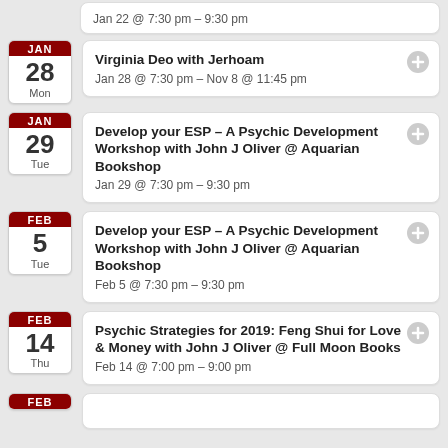Jan 22 @ 7:30 pm – 9:30 pm
Virginia Deo with Jerhoam
Jan 28 @ 7:30 pm – Nov 8 @ 11:45 pm
Develop your ESP – A Psychic Development Workshop with John J Oliver @ Aquarian Bookshop
Jan 29 @ 7:30 pm – 9:30 pm
Develop your ESP – A Psychic Development Workshop with John J Oliver @ Aquarian Bookshop
Feb 5 @ 7:30 pm – 9:30 pm
Psychic Strategies for 2019: Feng Shui for Love & Money with John J Oliver @ Full Moon Books
Feb 14 @ 7:00 pm – 9:00 pm
FEB (partial)